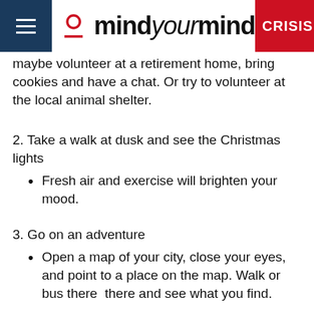mindyourmind CRISIS
maybe volunteer at a retirement home, bring cookies and have a chat. Or try to volunteer at the local animal shelter.
2. Take a walk at dusk and see the Christmas lights
Fresh air and exercise will brighten your mood.
3. Go on an adventure
Open a map of your city, close your eyes, and point to a place on the map. Walk or bus there  there and see what you find.